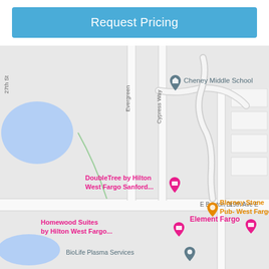Request Pricing
[Figure (map): Google Maps view showing area near West Fargo, ND with labeled locations including Cheney Middle School, DoubleTree by Hilton West Fargo Sanford, Blarney Stone Pub-West Fargo, Homewood Suites by Hilton West Fargo, Element Fargo, and BioLife Plasma Services. Streets visible include Evergreen, Cypress Way, E Beaton Dr, 19th Ave E, and 27th St.]